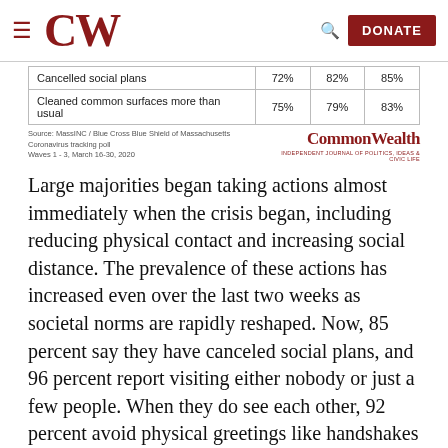CW  DONATE
|  |  |  |  |
| --- | --- | --- | --- |
| Cancelled social plans | 72% | 82% | 85% |
| Cleaned common surfaces more than usual | 75% | 79% | 83% |
Source: MassINC / Blue Cross Blue Shield of Massachusetts Coronavirus tracking poll Waves 1 - 3, March 16-30, 2020
Large majorities began taking actions almost immediately when the crisis began, including reducing physical contact and increasing social distance. The prevalence of these actions has increased even over the last two weeks as societal norms are rapidly reshaped. Now, 85 percent say they have canceled social plans, and 96 percent report visiting either nobody or just a few people. When they do see each other, 92 percent avoid physical greetings like handshakes or hugs. They i...